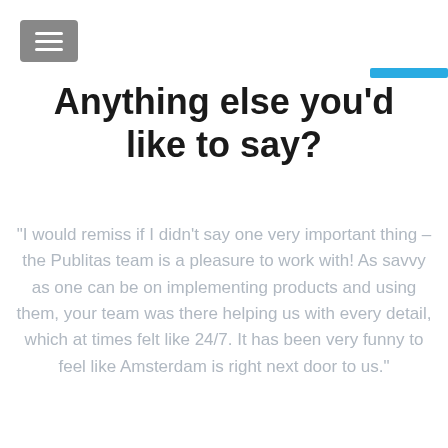[Figure (other): Hamburger menu icon button with grey background and three white horizontal lines]
[Figure (other): Short blue horizontal bar/divider]
Anything else you’d like to say?
“I would remiss if I didn’t say one very important thing – the Publitas team is a pleasure to work with! As savvy as one can be on implementing products and using them, your team was there helping us with every detail, which at times felt like 24/7. It has been very funny to feel like Amsterdam is right next door to us.”